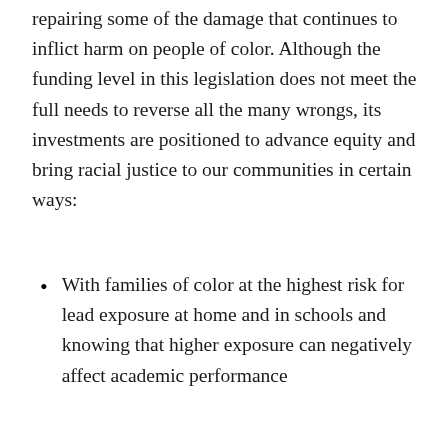repairing some of the damage that continues to inflict harm on people of color. Although the funding level in this legislation does not meet the full needs to reverse all the many wrongs, its investments are positioned to advance equity and bring racial justice to our communities in certain ways:
With families of color at the highest risk for lead exposure at home and in schools and knowing that higher exposure can negatively affect academic performance